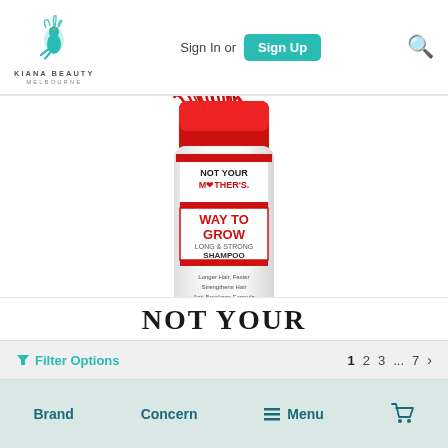[Figure (logo): Kiana Beauty Melbourne logo — stylized bird/peacock icon above text]
Sign In or Sign Up
[Figure (photo): Not Your Mother's Way To Grow Long & Strong Shampoo product bottle — white tube with red and white hair graphic at top, red label text]
NOT YOUR
Filter Options   1  2  3  ...  7  >
Brand   Concern   Menu   (cart icon)